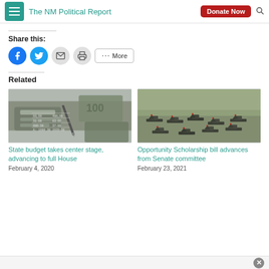The NM Political Report
Share this:
[Figure (screenshot): Social sharing buttons: Facebook (blue circle), Twitter (blue circle), Email (grey circle), Print (grey circle), and More button]
Related
[Figure (photo): Photo of US dollar bills and a pen on financial spreadsheet paper]
State budget takes center stage, advancing to full House
February 4, 2020
[Figure (photo): Photo of graduation ceremony with students in caps and gowns viewed from behind]
Opportunity Scholarship bill advances from Senate committee
February 23, 2021